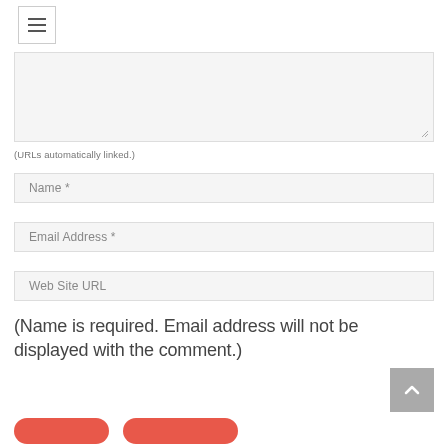[Figure (other): Hamburger menu button icon with three horizontal lines inside a bordered square]
(URLs automatically linked.)
Name *
Email Address *
Web Site URL
(Name is required. Email address will not be displayed with the comment.)